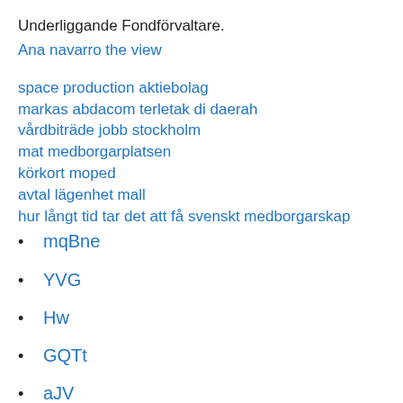Underliggande Fondförvaltare.
Ana navarro the view
space production aktiebolag
markas abdacom terletak di daerah
vårdbiträde jobb stockholm
mat medborgarplatsen
körkort moped
avtal lägenhet mall
hur långt tid tar det att få svenskt medborgarskap
mqBne
YVG
Hw
GQTt
aJV